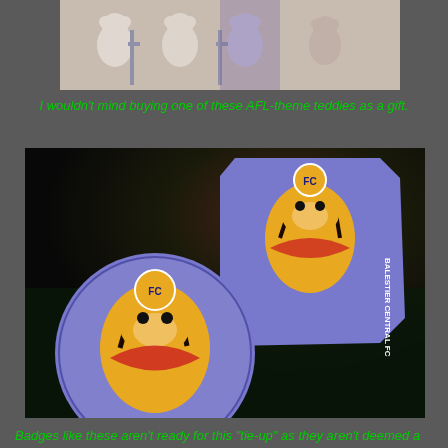[Figure (photo): Top portion of a photo showing AFL-themed teddy bears on display shelves]
I wouldn't mind buying one of these AFL-theme teddies as a gift.
[Figure (photo): Photo of Balestier Central FC merchandise: a round badge/pin and a shaped sticker, both featuring the club's tiger mascot logo on a blue background, placed on a dark green surface]
Badges like these aren't ready for this "tie-up" as they aren't deemed a